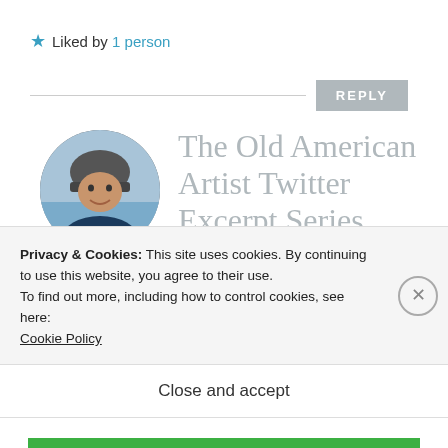★ Liked by 1 person
REPLY
[Figure (photo): Circular avatar photo of a person wearing a cycling helmet, outdoors near water]
The Old American Artist Twitter Excerpt Series, Number III.12.2 – © Felipe Adan Lerma – All
Privacy & Cookies: This site uses cookies. By continuing to use this website, you agree to their use.
To find out more, including how to control cookies, see here: Cookie Policy
Close and accept